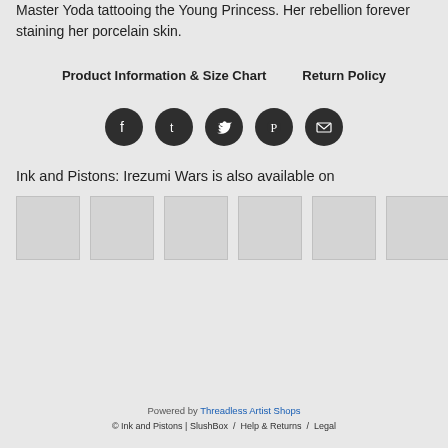Master Yoda tattooing the Young Princess. Her rebellion forever staining her porcelain skin.
Product Information & Size Chart    Return Policy
[Figure (other): Row of five circular social media icon buttons (Facebook, Tumblr, Twitter, Pinterest, Email) in dark/black circles]
Ink and Pistons: Irezumi Wars is also available on
[Figure (other): Row of six light gray thumbnail product image placeholders]
Powered by Threadless Artist Shops
© Ink and Pistons | SlushBox / Help & Returns / Legal